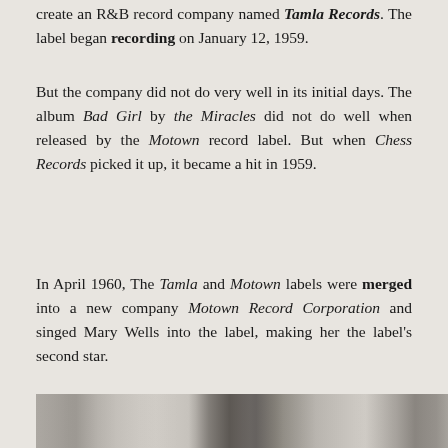create an R&B record company named Tamla Records. The label began recording on January 12, 1959.
But the company did not do very well in its initial days. The album Bad Girl by the Miracles did not do well when released by the Motown record label. But when Chess Records picked it up, it became a hit in 1959.
In April 1960, The Tamla and Motown labels were merged into a new company Motown Record Corporation and singed Mary Wells into the label, making her the label's second star.
[Figure (photo): Black and white photograph strip showing partial figures, appears to be a historical photo related to Motown records]